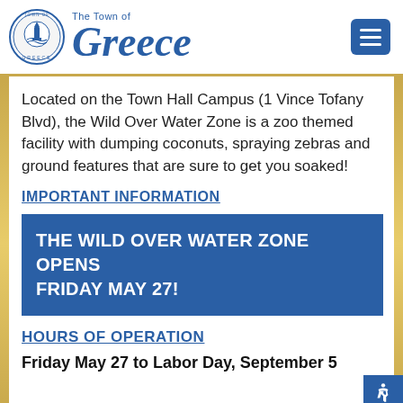The Town of Greece
Located on the Town Hall Campus (1 Vince Tofany Blvd), the Wild Over Water Zone is a zoo themed facility with dumping coconuts, spraying zebras and ground features that are sure to get you soaked!
IMPORTANT INFORMATION
THE WILD OVER WATER ZONE OPENS FRIDAY MAY 27!
HOURS OF OPERATION
Friday May 27 to Labor Day, September 5